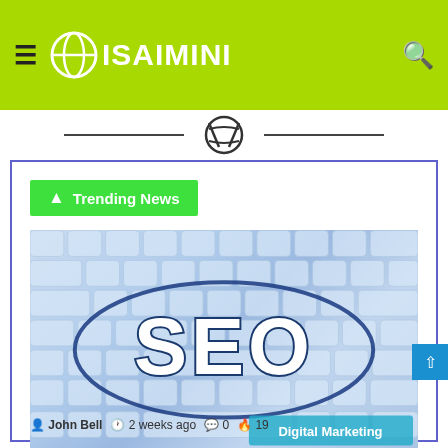ISAIMINI
Trending News
[Figure (photo): SEO text in a blue oval overlaid on a keyboard image with 'Digital Marketing' badge in bottom right]
John Bell  2 weeks ago  0  19